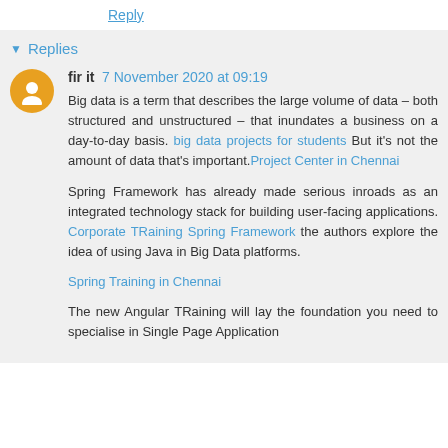Reply
Replies
fir it 7 November 2020 at 09:19
Big data is a term that describes the large volume of data – both structured and unstructured – that inundates a business on a day-to-day basis. big data projects for students But it's not the amount of data that's important.Project Center in Chennai

Spring Framework has already made serious inroads as an integrated technology stack for building user-facing applications. Corporate TRaining Spring Framework the authors explore the idea of using Java in Big Data platforms.
Spring Training in Chennai
The new Angular TRaining will lay the foundation you need to specialise in Single Page Application